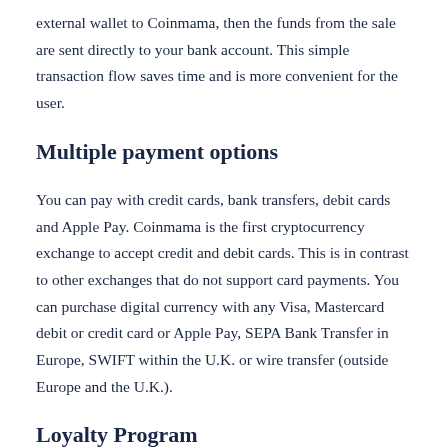external wallet to Coinmama, then the funds from the sale are sent directly to your bank account. This simple transaction flow saves time and is more convenient for the user.
Multiple payment options
You can pay with credit cards, bank transfers, debit cards and Apple Pay. Coinmama is the first cryptocurrency exchange to accept credit and debit cards. This is in contrast to other exchanges that do not support card payments. You can purchase digital currency with any Visa, Mastercard debit or credit card or Apple Pay, SEPA Bank Transfer in Europe, SWIFT within the U.K. or wire transfer (outside Europe and the U.K.).
Loyalty Program
Coinmama offers a loyalty program where you can take advantage of reduced rates and save money. The more you buy or sell...